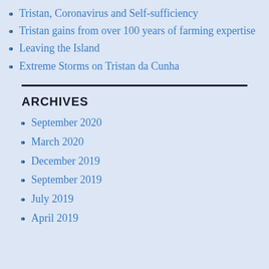Tristan, Coronavirus and Self-sufficiency
Tristan gains from over 100 years of farming expertise
Leaving the Island
Extreme Storms on Tristan da Cunha
ARCHIVES
September 2020
March 2020
December 2019
September 2019
July 2019
April 2019